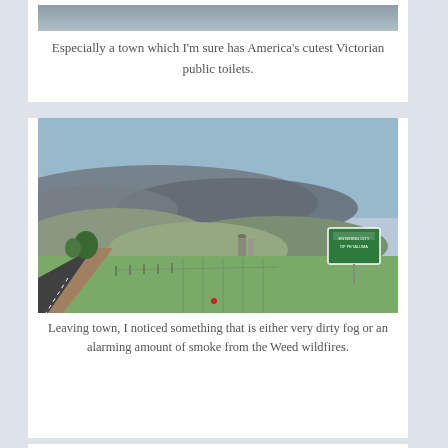[Figure (photo): Top portion of a photo cut off at top of page — grey/blue tones, partial view of parking area or building]
Especially a town which I'm sure has America's cutest Victorian public toilets.
[Figure (photo): Road leading into a rural area with green fields, a green highway sign visible on the right, and dark smoke or dirty fog rolling over hills in the background under a blue sky.]
Leaving town, I noticed something that is either very dirty fog or an alarming amount of smoke from the Weed wildfires.
There's one more odd thing I've noticed about this